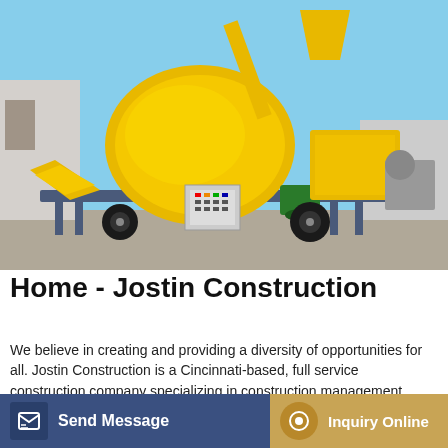[Figure (photo): A yellow concrete mixer pump machine on a wheeled trailer frame with steel legs, control panel, and hydraulic components, photographed outdoors against a blue sky.]
Home - Jostin Construction
We believe in creating and providing a diversity of opportunities for all. Jostin Construction is a Cincinnati-based, full service construction company specializing in construction management, general contracting, and self-performed pump, place, finish and total package concrete construction. Using a [...]s, Jos[...] satisfaction and project success